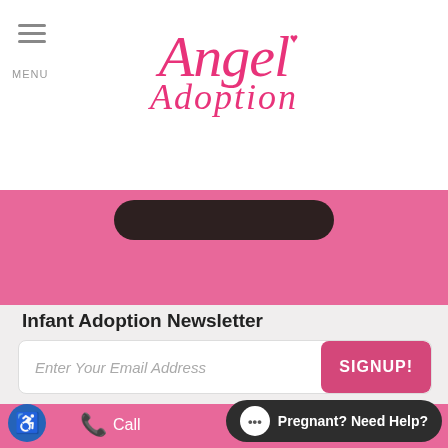[Figure (logo): Angel Adoption logo with heart icon in pink cursive script]
[Figure (other): Pink banner with dark rounded button]
Infant Adoption Newsletter
Enter Your Email Address
SIGNUP!
Get In Touch
PHONE:  847-462-8874
TOLL-FREE:  1-877-Angel55
Pregnant? Need Help?
Call